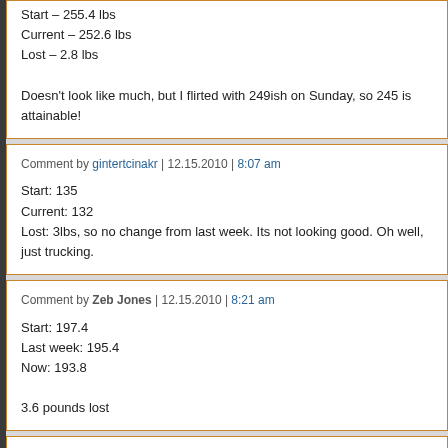Start – 255.4 lbs
Current – 252.6 lbs
Lost – 2.8 lbs

Doesn't look like much, but I flirted with 249ish on Sunday, so 245 is attainable!
Comment by gintertcinakr | 12.15.2010 | 8:07 am

Start: 135
Current: 132
Lost: 3lbs, so no change from last week. Its not looking good. Oh well, just trucking.
Comment by Zeb Jones | 12.15.2010 | 8:21 am

Start: 197.4
Last week: 195.4
Now: 193.8

3.6 pounds lost
Comment by Alon | 12.15.2010 | 8:21 am